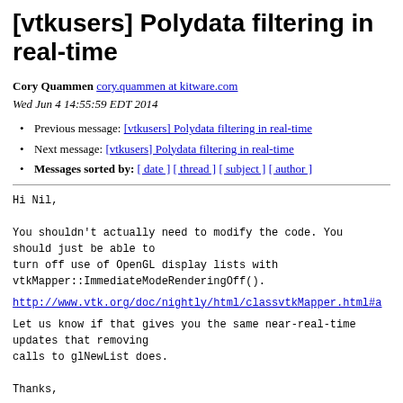[vtkusers] Polydata filtering in real-time
Cory Quammen cory.quammen at kitware.com
Wed Jun 4 14:55:59 EDT 2014
Previous message: [vtkusers] Polydata filtering in real-time
Next message: [vtkusers] Polydata filtering in real-time
Messages sorted by: [ date ] [ thread ] [ subject ] [ author ]
Hi Nil,

You shouldn't actually need to modify the code. You should just be able to
turn off use of OpenGL display lists with
vtkMapper::ImmediateModeRenderingOff().
http://www.vtk.org/doc/nightly/html/classvtkMapper.html#a
Let us know if that gives you the same near-real-time
updates that removing
calls to glNewList does.

Thanks,